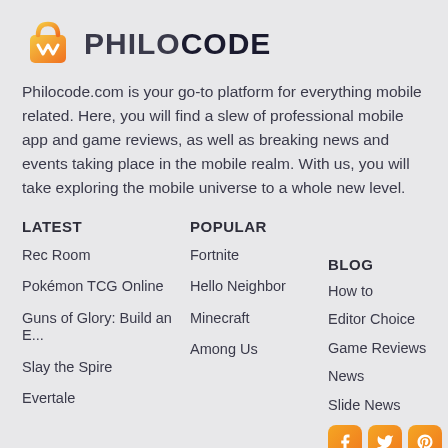[Figure (logo): Philocode logo: orange/gradient shopping bag icon with PHILOCODE text]
Philocode.com is your go-to platform for everything mobile related. Here, you will find a slew of professional mobile app and game reviews, as well as breaking news and events taking place in the mobile realm. With us, you will take exploring the mobile universe to a whole new level.
LATEST
POPULAR
BLOG
Rec Room
Pokémon TCG Online
Guns of Glory: Build an E...
Slay the Spire
Evertale
Fortnite
Hello Neighbor
Minecraft
Among Us
How to
Editor Choice
Game Reviews
News
Slide News
[Figure (other): Three orange social media icon buttons: Facebook, Twitter, Pinterest]